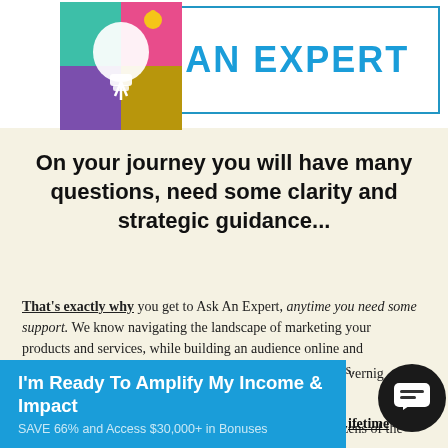[Figure (logo): Ask An Expert logo with colorful lightbulb icon and blue text reading ASK AN EXPERT in a bordered box]
On your journey you will have many questions, need some clarity and strategic guidance...
That's exactly why you get to Ask An Expert, anytime you need some support. We know navigating the landscape of marketing your products and services, while building an audience online and generating a lot more sales can feel overwhelming at times.
Imagine being able to get personal coaching and priceless hands on LIVE mentorship and professional
zens of the
vernig
ifetime
[Figure (other): Blue CTA button with text 'I'm Ready To Amplify My Income & Impact' and subtitle 'SAVE 66% and Access $30,000+ in Bonuses']
[Figure (other): Black circular chat/support icon in bottom right corner]